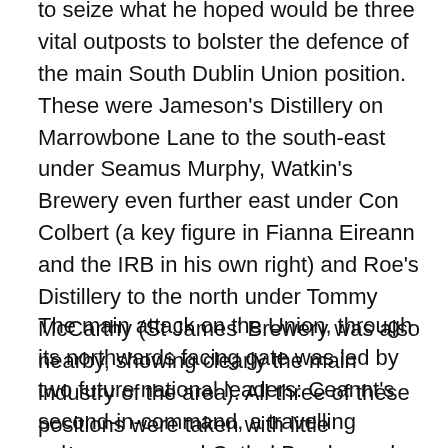to seize what he hoped would be three vital outposts to bolster the defence of the main South Dublin Union position. These were Jameson's Distillery on Marrowbone Lane to the south-east under Seamus Murphy, Watkin's Brewery even further east under Con Colbert (a key figure in Fianna Eireann and the IRB in his own right) and Roe's Distillery to the north under Tommy McCarthy (St James' Brewery was also nearby, showing clearly the main industry of the area). All three of these positions were taken with little resistance.
The main attack on the Union, through its northwards facing gate was led by two future national leaders: Ceannt's second-in-command, a travelling salesman named Cathal Brugha and Lieutenant William T. Cosgrave, a Sinn Fein Councillor. Ceannt entered from the western Rialto gate. The entrances were secured, and then the